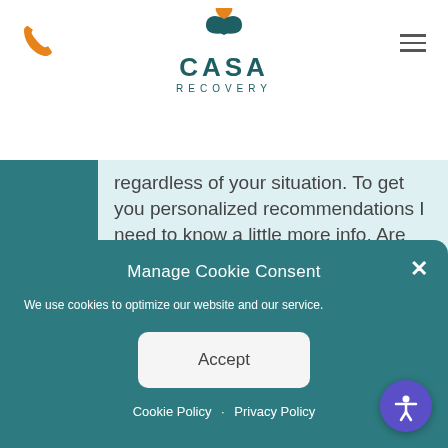[Figure (logo): Casa Recovery logo with teal lotus/flame icon above the text CASA RECOVERY]
[Figure (other): Orange phone icon in top left corner]
[Figure (other): Hamburger menu icon (three horizontal lines) in top right corner]
regardless of your situation. To get you personalized recommendations I need to know a little more info. Are you a new or existing patient?
Manage Cookie Consent
We use cookies to optimize our website and our service.
Accept
Cookie Policy · Privacy Policy